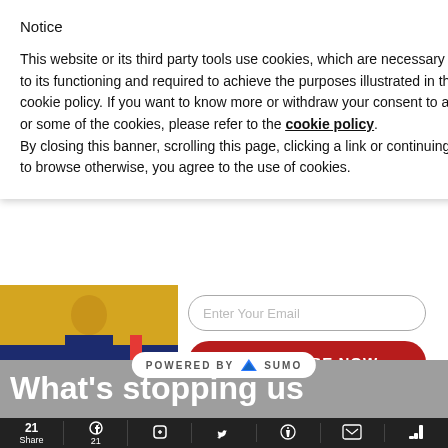Notice
This website or its third party tools use cookies, which are necessary to its functioning and required to achieve the purposes illustrated in the cookie policy. If you want to know more or withdraw your consent to all or some of the cookies, please refer to the cookie policy.
By closing this banner, scrolling this page, clicking a link or continuing to browse otherwise, you agree to the use of cookies.
[Figure (photo): Photo of person in wide-leg dark trousers, mustard yellow top, standing near colorful background]
Enter Your Email
SUBSCRIBE NOW
No Thanks
POWERED BY SUMO
What's stopping us
21 Share  21  (social share icons)